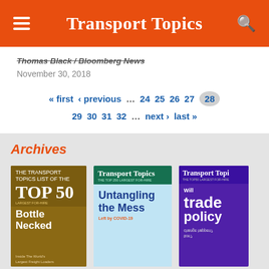Transport Topics
Thomas Black / Bloomberg News
November 30, 2018
« first ‹ previous … 24 25 26 27 28 29 30 31 32 … next › last »
Archives
[Figure (photo): TOP 50 magazine cover with Bottle Necked headline, brown/gold color scheme]
[Figure (photo): Transport Topics magazine cover with Untangling the Mess headline, teal and light blue color scheme]
[Figure (photo): Transport Topics magazine cover with trade policy headline, purple color scheme]